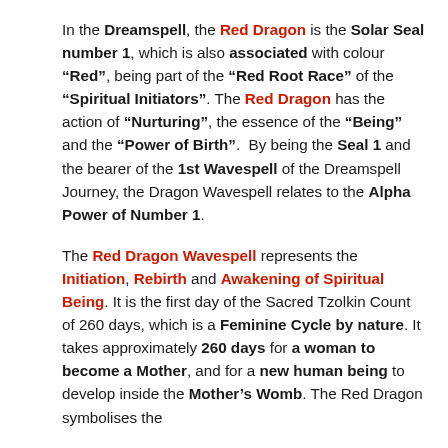In the Dreamspell, the Red Dragon is the Solar Seal number 1, which is also associated with colour "Red", being part of the "Red Root Race" of the "Spiritual Initiators". The Red Dragon has the action of "Nurturing", the essence of the "Being" and the "Power of Birth". By being the Seal 1 and the bearer of the 1st Wavespell of the Dreamspell Journey, the Dragon Wavespell relates to the Alpha Power of Number 1.
The Red Dragon Wavespell represents the Initiation, Rebirth and Awakening of Spiritual Being. It is the first day of the Sacred Tzolkin Count of 260 days, which is a Feminine Cycle by nature. It takes approximately 260 days for a woman to become a Mother, and for a new human being to develop inside the Mother's Womb. The Red Dragon symbolises the